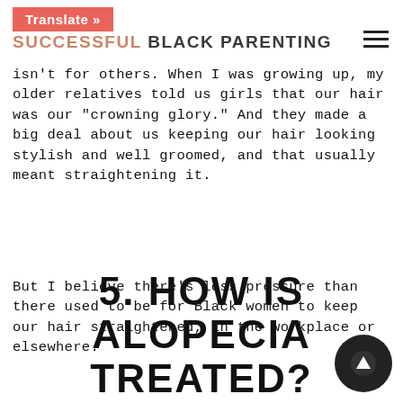Translate » SUCCESSFUL BLACK PARENTING
isn't for others. When I was growing up, my older relatives told us girls that our hair was our "crowning glory." And they made a big deal about us keeping our hair looking stylish and well groomed, and that usually meant straightening it.
But I believe there's less pressure than there used to be for Black women to keep our hair straightened, in the workplace or elsewhere.
5. HOW IS ALOPECIA TREATED?